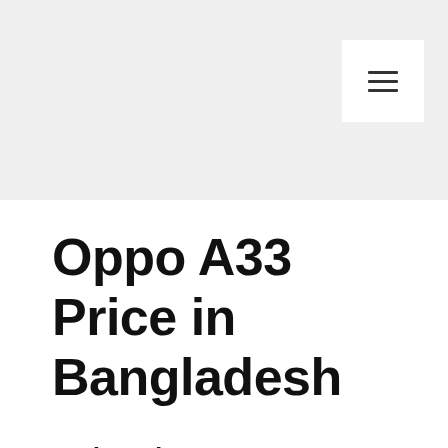Oppo A33 Price in Bangladesh
Price in Bangladesh
| Official ★ | ৳13,990 3/32 GB |
| --- | --- |